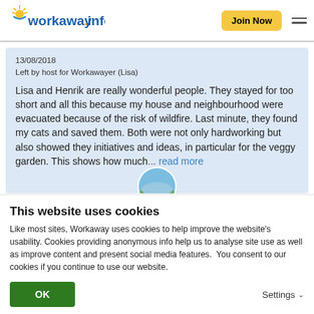[Figure (logo): Workaway.info logo with sun icon]
13/08/2018
Left by host for Workawayer (Lisa)
Lisa and Henrik are really wonderful people. They stayed for too short and all this because my house and neighbourhood were evacuated because of the risk of wildfire. Last minute, they found my cats and saved them. Both were not only hardworking but also showed they initiatives and ideas, in particular for the veggy garden. This shows how much... read more
This website uses cookies
Like most sites, Workaway uses cookies to help improve the website's usability. Cookies providing anonymous info help us to analyse site use as well as improve content and present social media features.  You consent to our cookies if you continue to use our website.
OK
Settings